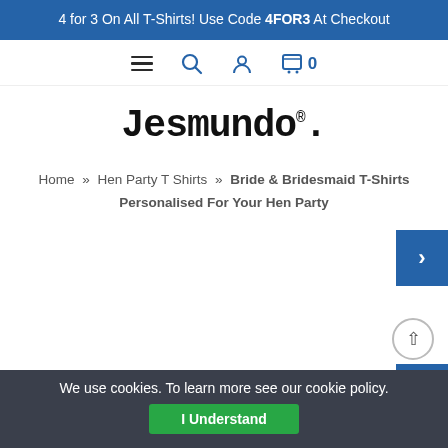4 for 3 On All T-Shirts! Use Code 4FOR3 At Checkout
[Figure (screenshot): Navigation bar with hamburger menu, search icon, user account icon, and cart icon showing 0 items]
Jesmundo.
Home » Hen Party T Shirts » Bride & Bridesmaid T-Shirts Personalised For Your Hen Party
We use cookies. To learn more see our cookie policy.
I Understand